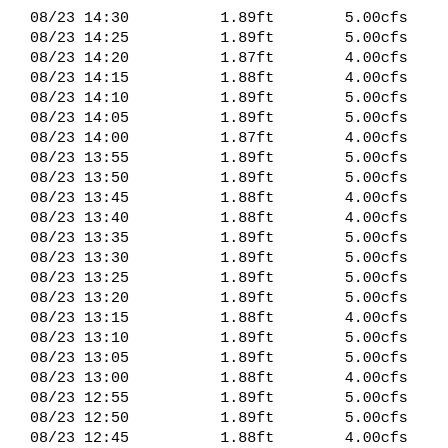| 08/23 14:30 | 1.89ft | 5.00cfs |
| 08/23 14:25 | 1.89ft | 5.00cfs |
| 08/23 14:20 | 1.87ft | 4.00cfs |
| 08/23 14:15 | 1.88ft | 4.00cfs |
| 08/23 14:10 | 1.89ft | 5.00cfs |
| 08/23 14:05 | 1.89ft | 5.00cfs |
| 08/23 14:00 | 1.87ft | 4.00cfs |
| 08/23 13:55 | 1.89ft | 5.00cfs |
| 08/23 13:50 | 1.89ft | 5.00cfs |
| 08/23 13:45 | 1.88ft | 4.00cfs |
| 08/23 13:40 | 1.88ft | 4.00cfs |
| 08/23 13:35 | 1.89ft | 5.00cfs |
| 08/23 13:30 | 1.89ft | 5.00cfs |
| 08/23 13:25 | 1.89ft | 5.00cfs |
| 08/23 13:20 | 1.89ft | 5.00cfs |
| 08/23 13:15 | 1.88ft | 4.00cfs |
| 08/23 13:10 | 1.89ft | 5.00cfs |
| 08/23 13:05 | 1.89ft | 5.00cfs |
| 08/23 13:00 | 1.88ft | 4.00cfs |
| 08/23 12:55 | 1.89ft | 5.00cfs |
| 08/23 12:50 | 1.89ft | 5.00cfs |
| 08/23 12:45 | 1.88ft | 4.00cfs |
| 08/23 12:40 | 1.89ft | 5.00cfs |
| 08/23 12:35 | 1.90ft | 5.00cfs |